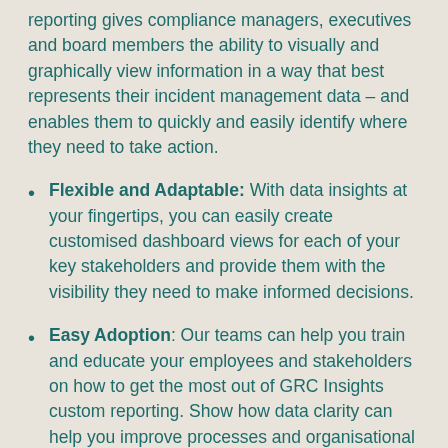reporting gives compliance managers, executives and board members the ability to visually and graphically view information in a way that best represents their incident management data – and enables them to quickly and easily identify where they need to take action.
Flexible and Adaptable: With data insights at your fingertips, you can easily create customised dashboard views for each of your key stakeholders and provide them with the visibility they need to make informed decisions.
Easy Adoption: Our teams can help you train and educate your employees and stakeholders on how to get the most out of GRC Insights custom reporting. Show how data clarity can help you improve processes and organisational culture, and